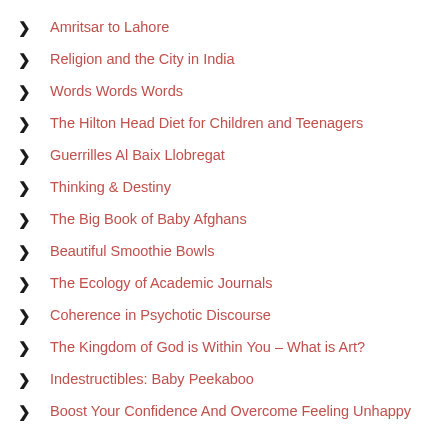Amritsar to Lahore
Religion and the City in India
Words Words Words
The Hilton Head Diet for Children and Teenagers
Guerrilles Al Baix Llobregat
Thinking & Destiny
The Big Book of Baby Afghans
Beautiful Smoothie Bowls
The Ecology of Academic Journals
Coherence in Psychotic Discourse
The Kingdom of God is Within You – What is Art?
Indestructibles: Baby Peekaboo
Boost Your Confidence And Overcome Feeling Unhappy